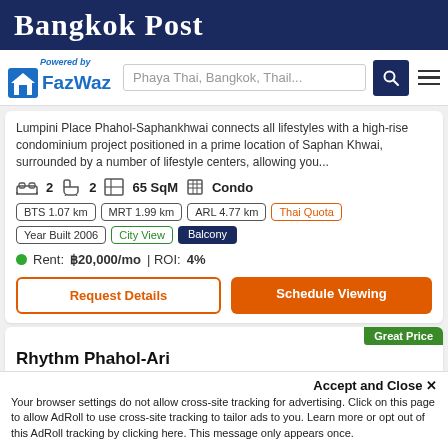Bangkok Post
[Figure (logo): FazWaz logo with house icon and 'Powered by' text, next to search bar with 'Phaya Thai, Bangkok, Thail...' placeholder and search/menu icons]
Lumpini Place Phahol-Saphankhwai connects all lifestyles with a high-rise condominium project positioned in a prime location of Saphan Khwai, surrounded by a number of lifestyle centers, allowing you...
2  2  65 SqM  Condo
BTS 1.07 km | MRT 1.99 km | ARL 4.77 km | Thai Quota | Year Built 2006 | City View | Balcony
Rent: ฿20,000/mo | ROI: 4%
Request Details  |  Schedule Viewing
Rhythm Phahol-Ari
Great Price
Accept and Close ✕
Your browser settings do not allow cross-site tracking for advertising. Click on this page to allow AdRoll to use cross-site tracking to tailor ads to you. Learn more or opt out of this AdRoll tracking by clicking here. This message only appears once.